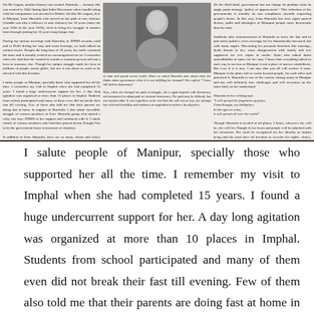[Figure (photo): Newspaper clipping with three-column text article about Irom Sharmila, with a black-and-white photograph of a woman in the center column, and headline 'When there is no hope | An open letter to the Governor' at the bottom.]
I salute people of Manipur, specially those who supported her all the time. I remember my visit to Imphal when she had completed 15 years. I found a huge undercurrent support for her. A day long agitation was organized at more than 10 places in Imphal. Students from school participated and many of them even did not break their fast till evening. Few of them also told me that their parents are doing fast at home in support of Sharmila. I also salute incredible struggle of women members of Save Sharmila group who started a relay fast near JNIMS in her support and continued with it. I salute efforts of women members